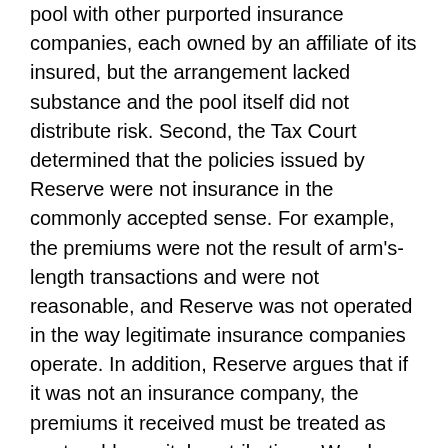pool with other purported insurance companies, each owned by an affiliate of its insured, but the arrangement lacked substance and the pool itself did not distribute risk. Second, the Tax Court determined that the policies issued by Reserve were not insurance in the commonly accepted sense. For example, the premiums were not the result of arm's-length transactions and were not reasonable, and Reserve was not operated in the way legitimate insurance companies operate. In addition, Reserve argues that if it was not an insurance company, the premiums it received must be treated as nontaxable capital contributions. We also reject that argument.
I. OVERVIEW
From 2008 to 2010, when Reserve Mechanical Corp. was known as Reserve Casualty Corp., it issued a number of insurance policies to Peak Mechanical